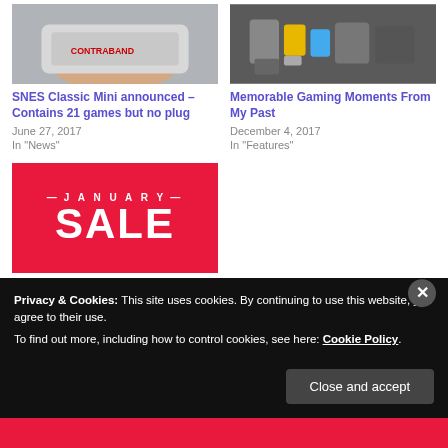[Figure (photo): Photo of SNES Classic Mini console held in hand]
SNES Classic Mini announced – Contains 21 games but no plug
June 27, 2017
In "News"
[Figure (photo): Photo of various retro gaming handhelds and consoles]
Memorable Gaming Moments From My Past
December 4, 2017
In "Features"
[Figure (photo): Red banner with white text reading JANUARY SALE]
The PS Store January sale...
Privacy & Cookies: This site uses cookies. By continuing to use this website, you agree to their use.
To find out more, including how to control cookies, see here: Cookie Policy
Close and accept